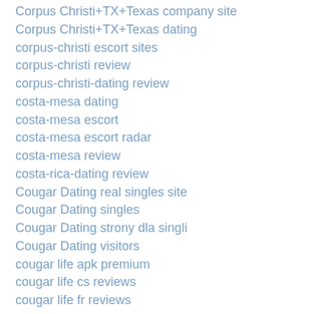Corpus Christi+TX+Texas company site
Corpus Christi+TX+Texas dating
corpus-christi escort sites
corpus-christi review
corpus-christi-dating review
costa-mesa dating
costa-mesa escort
costa-mesa escort radar
costa-mesa review
costa-rica-dating review
Cougar Dating real singles site
Cougar Dating singles
Cougar Dating strony dla singli
Cougar Dating visitors
cougar life apk premium
cougar life cs reviews
cougar life fr reviews